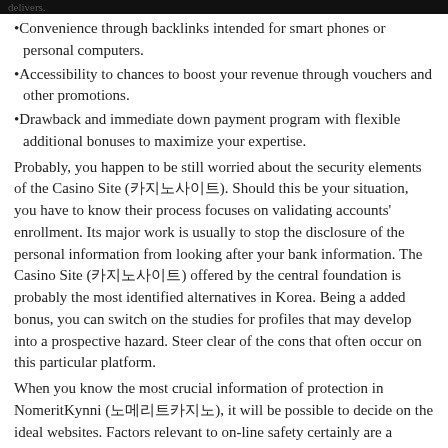delivers.
•Convenience through backlinks intended for smart phones or personal computers.
•Accessibility to chances to boost your revenue through vouchers and other promotions.
•Drawback and immediate down payment program with flexible additional bonuses to maximize your expertise.
Probably, you happen to be still worried about the security elements of the Casino Site (카지노사이트). Should this be your situation, you have to know their process focuses on validating accounts' enrollment. Its major work is usually to stop the disclosure of the personal information from looking after your bank information. The Casino Site (카지노사이트) offered by the central foundation is probably the most identified alternatives in Korea. Being a added bonus, you can switch on the studies for profiles that may develop into a prospective hazard. Steer clear of the cons that often occur on this particular platform.
When you know the most crucial information of protection in NomeritKynni (노메리트카지노), it will be possible to decide on the ideal websites. Factors relevant to on-line safety certainly are a important element in discovering the casinos which could meet your requirements. Internet affiliate gambling establishments are the best option if you are planning to incorporate new